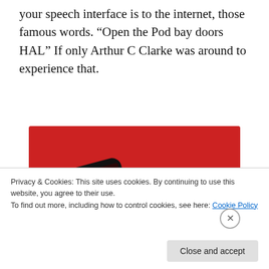your speech interface is to the internet, those famous words. “Open the Pod bay doors HAL” If only Arthur C Clarke was around to experience that.
[Figure (screenshot): Advertisement with red background showing a smartphone displaying a podcast app with text 'Dis-tri-bu-ted'. White bold text reads 'An app by listeners, for listeners.' with a dark red 'Download now' button.]
Privacy & Cookies: This site uses cookies. By continuing to use this website, you agree to their use.
To find out more, including how to control cookies, see here: Cookie Policy